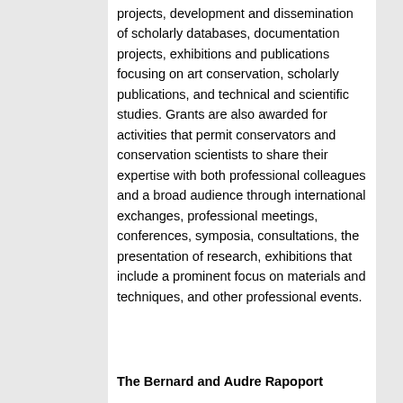projects, development and dissemination of scholarly databases, documentation projects, exhibitions and publications focusing on art conservation, scholarly publications, and technical and scientific studies. Grants are also awarded for activities that permit conservators and conservation scientists to share their expertise with both professional colleagues and a broad audience through international exchanges, professional meetings, conferences, symposia, consultations, the presentation of research, exhibitions that include a prominent focus on materials and techniques, and other professional events.
The Bernard and Audre Rapoport